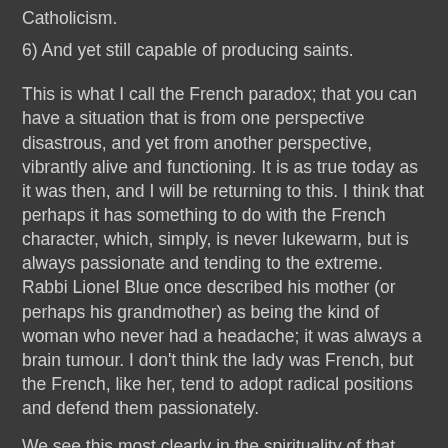Catholicism.
6) And yet still capable of producing saints.
This is what I call the French paradox; that you can have a situation that is from one perspective disastrous, and yet from another perspective, vibrantly alive and functioning. It is as true today as it was then, and I will be returning to this. I think that perhaps it has something to do with the French character, which, simply, is never lukewarm, but is always passionate and tending to the extreme. Rabbi Lionel Blue once described his mother (or perhaps his grandmother) as being the kind of woman who never had a headache; it was always a brain tumour. I don't think the lady was French, but the French, like her, tend to adopt radical positions and defend them passionately.
We see this most clearly in the spirituality of that pre-revolutionary age. On good Gallican principles, France had never implemented the decrees of the Council of Trent, or at least only did so very slowly. But that didn't mean to say that the spirit of reform had passed France by; it just wanted to implement reform in its own way. Dioceses retained their old